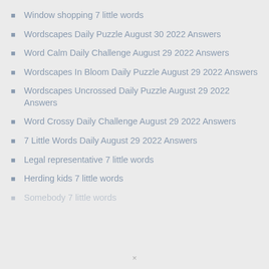Window shopping 7 little words
Wordscapes Daily Puzzle August 30 2022 Answers
Word Calm Daily Challenge August 29 2022 Answers
Wordscapes In Bloom Daily Puzzle August 29 2022 Answers
Wordscapes Uncrossed Daily Puzzle August 29 2022 Answers
Word Crossy Daily Challenge August 29 2022 Answers
7 Little Words Daily August 29 2022 Answers
Legal representative 7 little words
Herding kids 7 little words
Somebody 7 little words (partially visible)
×